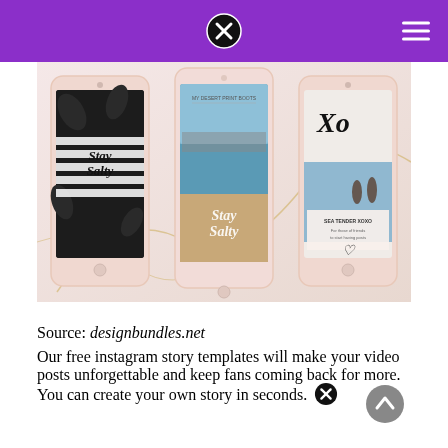[Figure (photo): Three smartphone mockups showing Instagram story templates: left phone shows 'Stay Salty' in script on black leaf background with horizontal stripes; center phone shows 'Stay Salty' over a beach aerial photo; right phone shows 'Xo' text with two people at beach and a caption box. All phones have rose gold frames on a marble/pink background.]
Source: designbundles.net
Our free instagram story templates will make your video posts unforgettable and keep fans coming back for more. You can create your own story in seconds.